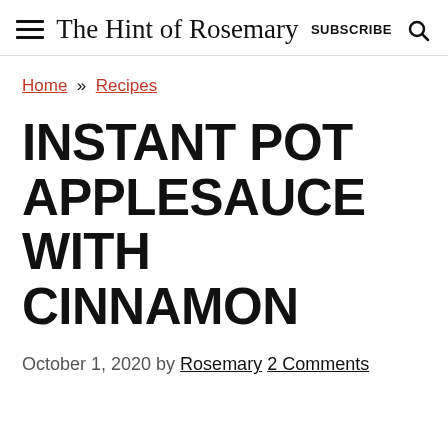The Hint of Rosemary | SUBSCRIBE
Home » Recipes
INSTANT POT APPLESAUCE WITH CINNAMON
October 1, 2020 by Rosemary 2 Comments